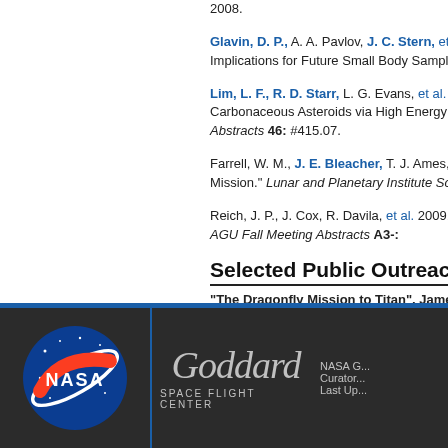Glavin, D. P., A. A. Pavlov, J. C. Stern, et al. Implications for Future Small Body Sample
Lim, L. F., R. D. Starr, L. G. Evans, et al. 2... Carbonaceous Asteroids via High Energy R... Abstracts 46: #415.07.
Farrell, W. M., J. E. Bleacher, T. J. Ames, ... Mission." Lunar and Planetary Institute Sci...
Reich, J. P., J. Cox, R. Davila, et al. 2009. ... AGU Fall Meeting Abstracts A3-:
Selected Public Outreach
"The Dragonfly Mission to Titan", James... https://www.youtube.com/watch?v=y4dh-dv... Public talk presented virtually in 10/2020 as...
[Figure (logo): NASA meatball logo (blue circle with red swoosh and white NASA text) on dark background]
[Figure (logo): Goddard Space Flight Center script logo in silver/gray on dark background]
NASA G... Curator... Last Up...